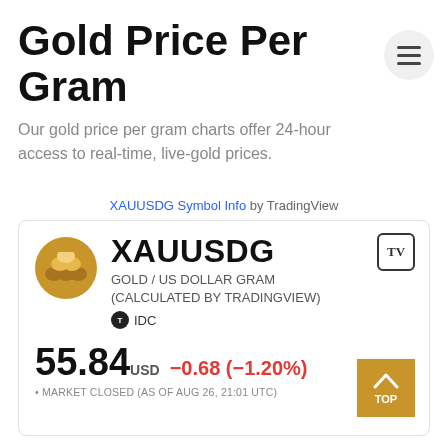Gold Price Per Gram
Our gold price per gram charts offer 24-hour access to real-time, live-gold prices.
XAUUSDG Symbol Info by TradingView
[Figure (infographic): XAUUSDG symbol info widget showing GOLD / US DOLLAR GRAM (CALCULATED BY TRADINGVIEW), IDC source, price 55.84 USD, change -0.68 (-1.20%), MARKET CLOSED (AS OF AUG 26, 21:01 UTC)]